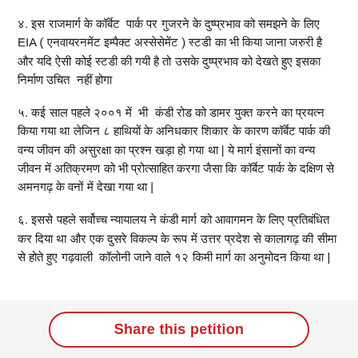४. इस राजमार्ग के कॉर्बेट पार्क पर गुजरने के दुष्प्रभाव को समझने के लिए EIA ( एनवायरनमेंट इम्पैक्ट अस्सेसेमेंट ) स्टडी का भी किया जाना जरुरी है और यदि ऐसी कोई स्टडी की गयी है तो उसके दुष्प्रभाव को देखते हुए इसका निर्माण उचित नहीं होगा
५. कई साल पहले २००१ में भी कंडी रोड को डामर युक्त करने का प्रयत्न किया गया था लेजिन ८ हाथियों के अनिधकार शिकार के कारण कॉर्बेट पार्क की वन्य जीवन की असुरक्षा का प्रश्न खड़ा हो गया था | ये मार्ग इंसानों का वन्य जीवन में अतिक्रमण को भी प्रोत्साहित करगा जैसा कि कॉर्बेट पार्क के दक्षिण से अमनगढ़ के वनों में देखा गया था |
६. इससे पहले सर्वोच्च न्यायालय ने कंडी मार्ग को आवागमन के लिए प्रतिबंधित कर दिया था और एक दुसरे विकल्प के रूप में उत्तर प्रदेश से कालागढ़ की सीमा से होते हुए गढ़वाली कॉलोनी जाने वाले १२ किमी मार्ग का अनुमोदन किया था |
Share this petition